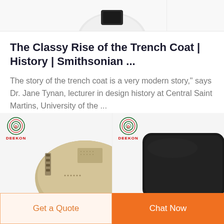[Figure (photo): Partial view of a white/grey helmet product image at the top of the page, cropped]
The Classy Rise of the Trench Coat | History | Smithsonian ...
The story of the trench coat is a very modern story," says Dr. Jane Tynan, lecturer in design history at Central Saint Martins, University of the ...
[Figure (photo): Deekon branded tactical/military helmet in tan/khaki color with side rails, partially visible]
[Figure (photo): Deekon branded black tactical helmet or ballistic shield, partially visible]